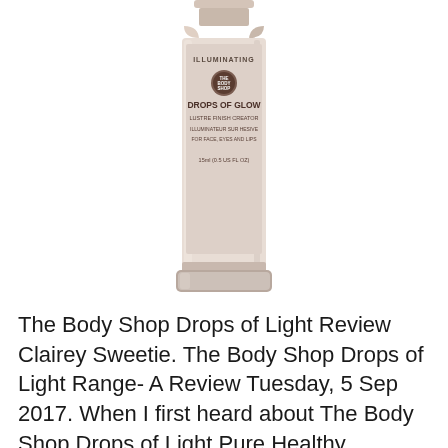[Figure (photo): The Body Shop Drops of Glow Lustre Finish Creator illuminating product bottle — a small glass dropper bottle with a pinkish-beige liquid, labeled 'ILLUMINATING', 'DROPS OF GLOW', 'LUSTRE FINISH CREATOR', 'ILLUMINATEUR SUR HESIVE', 'FOR FACE, EYES AND LIPS', '15ml (0.5 US FL OZ)']
The Body Shop Drops of Light Review Clairey Sweetie. The Body Shop Drops of Light Range- A Review Tuesday, 5 Sep 2017. When I first heard about The Body Shop Drops of Light Pure Healthy Brightening Range, I was soooo excited, and I knew I had to try it! I was sent the Pure Healthy Brightening Serum to review before it launched, but I wanted/needed the rest of the range to be able to give you all, THE BODY